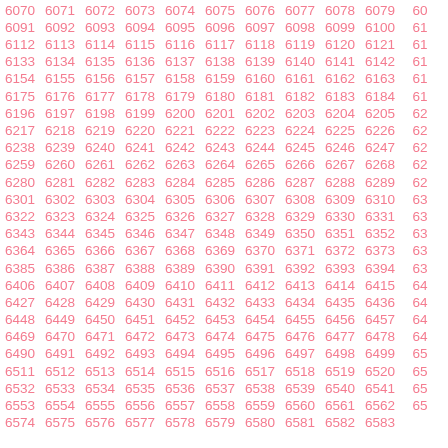Grid of numbers from 6070 to 6583, arranged in rows of approximately 11 columns each, with sequential increments. Numbers displayed in pink/salmon color on white background.